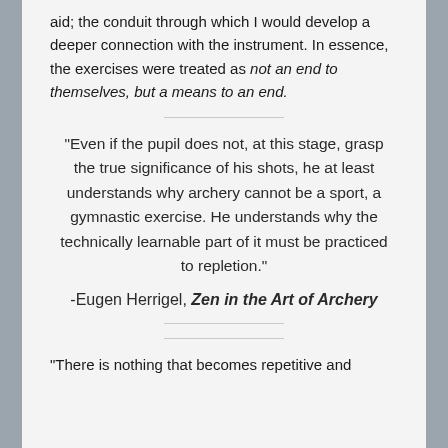aid; the conduit through which I would develop a deeper connection with the instrument. In essence, the exercises were treated as not an end to themselves, but a means to an end.
“Even if the pupil does not, at this stage, grasp the true significance of his shots, he at least understands why archery cannot be a sport, a gymnastic exercise. He understands why the technically learnable part of it must be practiced to repletion.”
-Eugen Herrigel, Zen in the Art of Archery
“There is nothing that becomes repetitive and